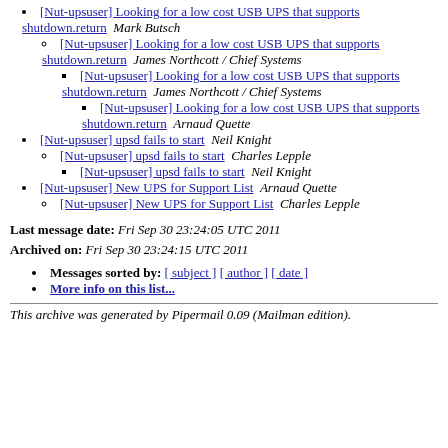[Nut-upsuser] Looking for a low cost USB UPS that supports shutdown.return  Mark Butsch
[Nut-upsuser] Looking for a low cost USB UPS that supports shutdown.return  James Northcott / Chief Systems
[Nut-upsuser] Looking for a low cost USB UPS that supports shutdown.return  James Northcott / Chief Systems
[Nut-upsuser] Looking for a low cost USB UPS that supports shutdown.return  Arnaud Quette
[Nut-upsuser] upsd fails to start  Neil Knight
[Nut-upsuser] upsd fails to start  Charles Lepple
[Nut-upsuser] upsd fails to start  Neil Knight
[Nut-upsuser] New UPS for Support List  Arnaud Quette
[Nut-upsuser] New UPS for Support List  Charles Lepple
Last message date: Fri Sep 30 23:24:05 UTC 2011
Archived on: Fri Sep 30 23:24:15 UTC 2011
Messages sorted by: [ subject ] [ author ] [ date ]
More info on this list...
This archive was generated by Pipermail 0.09 (Mailman edition).